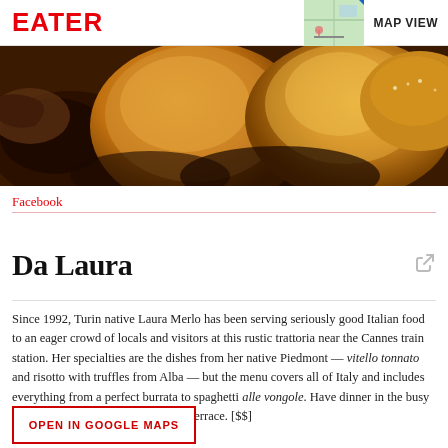EATER  MAP VIEW
[Figure (photo): Close-up photo of golden-brown baked pastries and croissants]
Facebook
Da Laura
Since 1992, Turin native Laura Merlo has been serving seriously good Italian food to an eager crowd of locals and visitors at this rustic trattoria near the Cannes train station. Her specialties are the dishes from her native Piedmont — vitello tonnato and risotto with truffles from Alba — but the menu covers all of Italy and includes everything from a perfect burrata to spaghetti alle vongole. Have dinner in the busy dining room or out on the sidewalk terrace. [$$]
OPEN IN GOOGLE MAPS